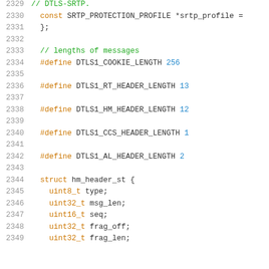2329   // DTLS-SRTP.
2330   const SRTP_PROTECTION_PROFILE *srtp_profile =
2331   };
2332   
2333   // lengths of messages
2334   #define DTLS1_COOKIE_LENGTH 256
2335   
2336   #define DTLS1_RT_HEADER_LENGTH 13
2337   
2338   #define DTLS1_HM_HEADER_LENGTH 12
2339   
2340   #define DTLS1_CCS_HEADER_LENGTH 1
2341   
2342   #define DTLS1_AL_HEADER_LENGTH 2
2343   
2344   struct hm_header_st {
2345     uint8_t type;
2346     uint32_t msg_len;
2347     uint16_t seq;
2348     uint32_t frag_off;
2349     uint32_t frag_len;